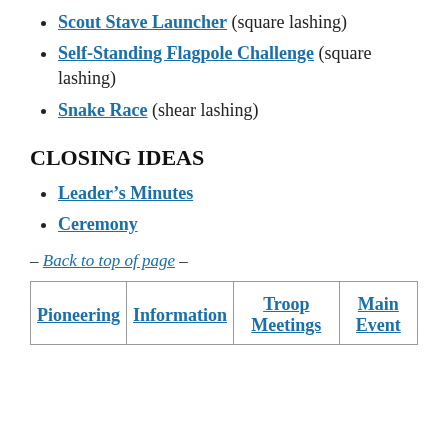Scout Stave Launcher (square lashing)
Self-Standing Flagpole Challenge (square lashing)
Snake Race (shear lashing)
CLOSING IDEAS
Leader’s Minutes
Ceremony
– Back to top of page –
| Pioneering | Information | Troop Meetings | Main Event |
| --- | --- | --- | --- |